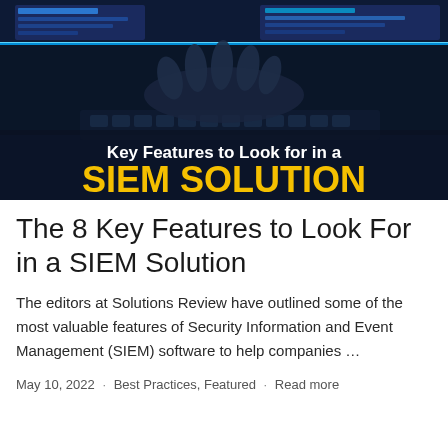[Figure (photo): Dark blue-toned photo of a person typing on a keyboard with computer screens in the background showing code/data. Overlaid text reads 'Key Features to Look for in a SIEM SOLUTION' with 'SIEM SOLUTION' in bold yellow and white text above it.]
The 8 Key Features to Look For in a SIEM Solution
The editors at Solutions Review have outlined some of the most valuable features of Security Information and Event Management (SIEM) software to help companies …
May 10, 2022 · Best Practices, Featured · Read more